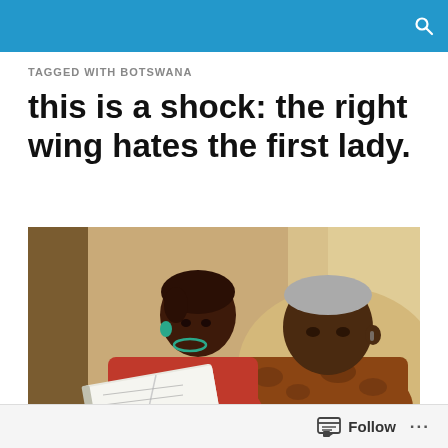TAGGED WITH BOTSWANA
this is a shock: the right wing hates the first lady.
[Figure (photo): Two people sitting together on a couch, a woman in a red jacket with teal earrings and a man in a patterned orange/brown shirt, looking at an open book together]
Follow ...